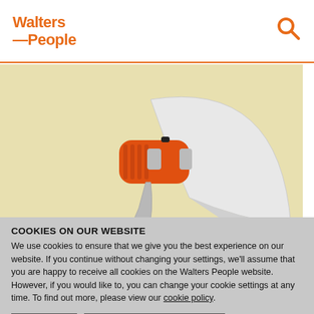[Figure (logo): Walters People logo in orange with search icon]
[Figure (photo): A red and white megaphone on a pale yellow background]
COOKIES ON OUR WEBSITE
We use cookies to ensure that we give you the best experience on our website. If you continue without changing your settings, we'll assume that you are happy to receive all cookies on the Walters People website. However, if you would like to, you can change your cookie settings at any time. To find out more, please view our cookie policy.